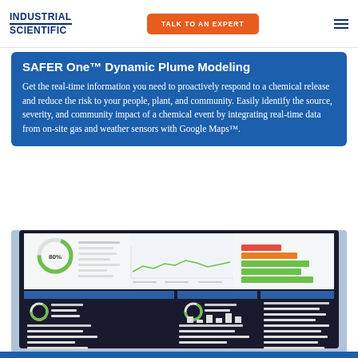INDUSTRIAL SCIENTIFIC | TALK TO AN EXPERT
SAFER One™ Dynamic Plume Modeling
Get the real-time information you need to proactively respond to a chemical release and reduce the risk to your people, plant, and community. Easily identify the source, severity, and community impact of a chemical event by integrating real-time data from on-site gas and weather sensors with Google Maps™.
[Figure (screenshot): Screenshot of a dashboard interface showing monitoring panels with charts, gauges, and data readouts on a tablet/monitor screen]